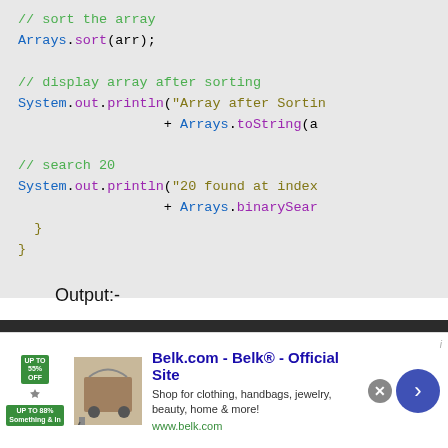[Figure (screenshot): Java code snippet showing array sort and binary search with syntax highlighting on grey background]
Output:-
[Figure (screenshot): Dark terminal output block showing: Initial array = [100, 20, 30, 10, 50]]
[Figure (screenshot): Advertisement banner for Belk.com - Belk® - Official Site]